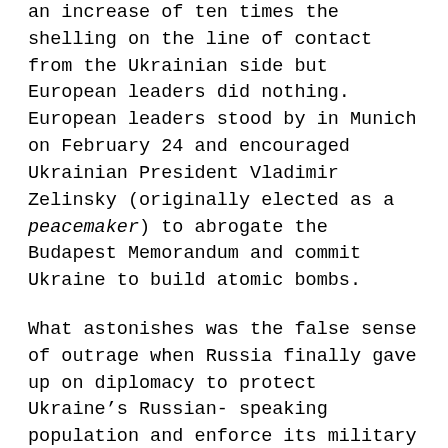an increase of ten times the shelling on the line of contact from the Ukrainian side but European leaders did nothing. European leaders stood by in Munich on February 24 and encouraged Ukrainian President Vladimir Zelinsky (originally elected as a peacemaker) to abrogate the Budapest Memorandum and commit Ukraine to build atomic bombs.
What astonishes was the false sense of outrage when Russia finally gave up on diplomacy to protect Ukraine's Russian-speaking population and enforce its military buffer zone. After eight years of pain-staking work to reach a diplomatic settlement, and very pointed diplomatic notes, what did Europe's leaders expect when Kiev prepared its